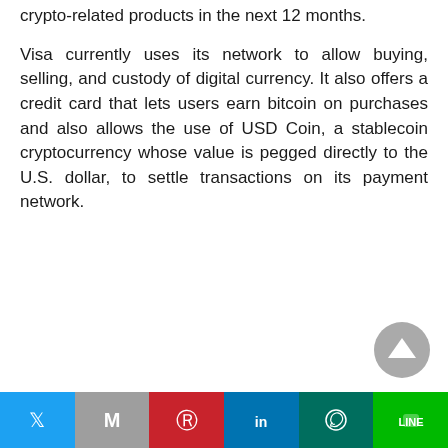crypto-related products in the next 12 months.
Visa currently uses its network to allow buying, selling, and custody of digital currency. It also offers a credit card that lets users earn bitcoin on purchases and also allows the use of USD Coin, a stablecoin cryptocurrency whose value is pegged directly to the U.S. dollar, to settle transactions on its payment network.
[Figure (other): Scroll to top button — circular grey arrow-up icon]
[Figure (other): Social sharing bar with Twitter, Gmail, Pinterest, LinkedIn, WhatsApp, and LINE buttons]